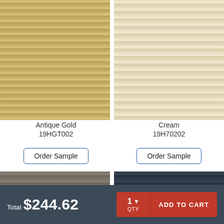[Figure (photo): Antique Gold honeycomb cellular shade fabric swatch with horizontal pleated texture in warm golden-tan color]
[Figure (photo): Cream honeycomb cellular shade fabric swatch with horizontal pleated texture in light cream/ivory color]
Antique Gold
19HGT002
Cream
19H70202
Order Sample
Order Sample
[Figure (photo): Gray/taupe honeycomb cellular shade fabric swatch with horizontal pleated texture]
[Figure (photo): Dark navy/charcoal honeycomb cellular shade fabric swatch with horizontal pleated texture]
Total $244.62
1  QTY
ADD TO CART